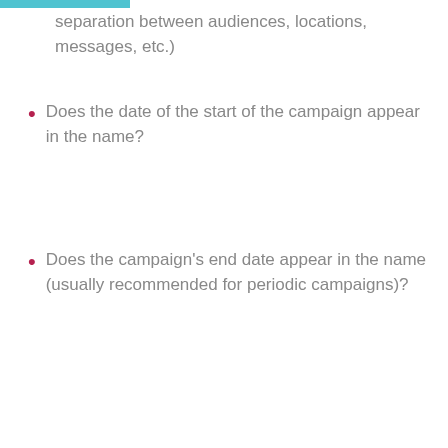separation between audiences, locations, messages, etc.)
Does the date of the start of the campaign appear in the name?
Does the campaign's end date appear in the name (usually recommended for periodic campaigns)?
Before the campaign – what exactly do we want to achieve?